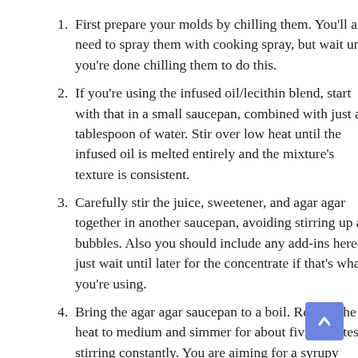First prepare your molds by chilling them. You'll also need to spray them with cooking spray, but wait until you're done chilling them to do this.
If you're using the infused oil/lecithin blend, start with that in a small saucepan, combined with just a tablespoon of water. Stir over low heat until the infused oil is melted entirely and the mixture's texture is consistent.
Carefully stir the juice, sweetener, and agar agar together in another saucepan, avoiding stirring up air bubbles. Also you should include any add-ins here—just wait until later for the concentrate if that's what you're using.
Bring the agar agar saucepan to a boil. Reduce the heat to medium and simmer for about five minutes, stirring constantly. You are aiming for a syrupy consistency, which means the agar ag…s activated and will properly gel.
Stir in the cannabinoid source and ensure the